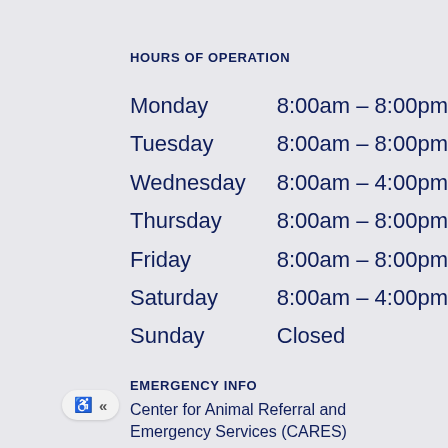HOURS OF OPERATION
| Day | Hours |
| --- | --- |
| Monday | 8:00am – 8:00pm |
| Tuesday | 8:00am – 8:00pm |
| Wednesday | 8:00am – 4:00pm |
| Thursday | 8:00am – 8:00pm |
| Friday | 8:00am – 8:00pm |
| Saturday | 8:00am – 4:00pm |
| Sunday | Closed |
EMERGENCY INFO
Center for Animal Referral and Emergency Services (CARES)